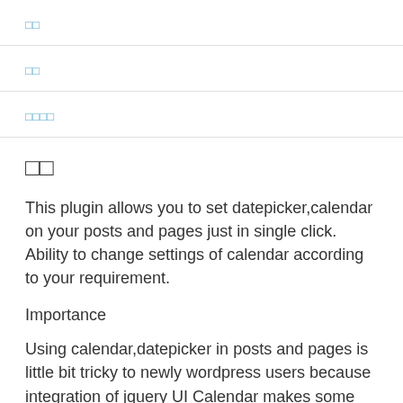□□
□□
□□□□
□□
This plugin allows you to set datepicker,calendar on your posts and pages just in single click. Ability to change settings of calendar according to your requirement.
Importance
Using calendar,datepicker in posts and pages is little bit tricky to newly wordpress users because integration of jquery UI Calendar makes some